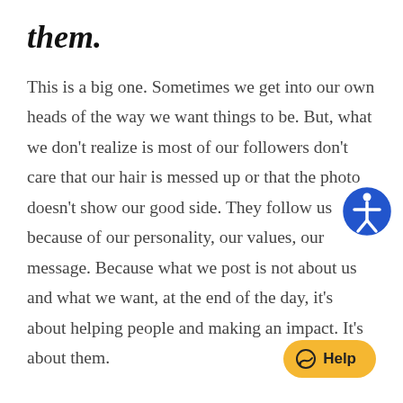them.
This is a big one. Sometimes we get into our own heads of the way we want things to be. But, what we don't realize is most of our followers don't care that our hair is messed up or that the photo doesn't show our good side. They follow us because of our personality, our values, our message. Because what we post is not about us and what we want, at the end of the day, it's about helping people and making an impact. It's about them.